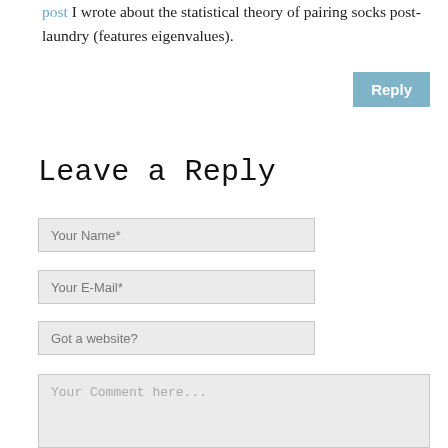post I wrote about the statistical theory of pairing socks post-laundry (features eigenvalues).
[Figure (other): Reply button - a blue/teal rectangular button with white text 'Reply']
Leave a Reply
Your Name*
Your E-Mail*
Got a website?
Your Comment here...